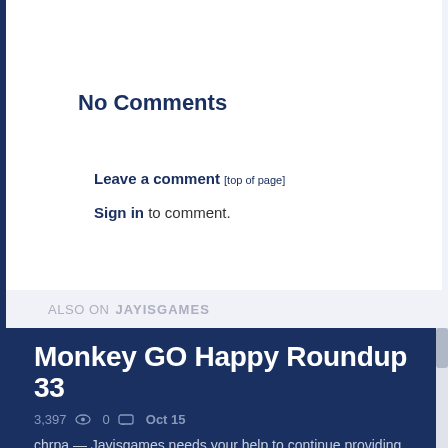No Comments
Leave a comment [top of page]
Sign in to comment.
ALSO ON JAYISGAMES
Monkey GO Happy Roundup 33
3,397  0  Oct 15
chrpa — Jayisgames needs your help to continue providing quality content. Click for details Welcome to the Roundup 33 with three games! As mentioned in the previous roundups, only odd-